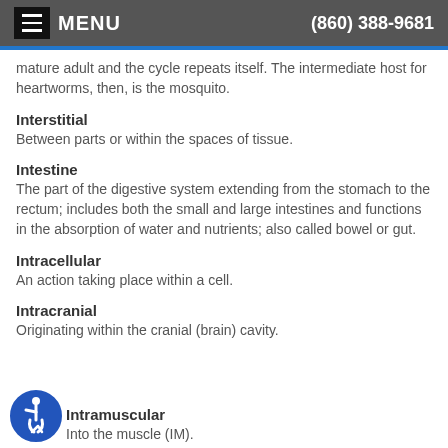MENU  (860) 388-9681
mature adult and the cycle repeats itself. The intermediate host for heartworms, then, is the mosquito.
Interstitial
Between parts or within the spaces of tissue.
Intestine
The part of the digestive system extending from the stomach to the rectum; includes both the small and large intestines and functions in the absorption of water and nutrients; also called bowel or gut.
Intracellular
An action taking place within a cell.
Intracranial
Originating within the cranial (brain) cavity.
Intramuscular
Into the muscle (IM).